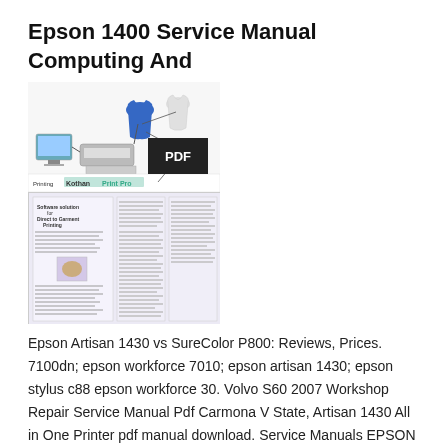Epson 1400 Service Manual Computing And
[Figure (illustration): A composite image showing a PDF document thumbnail with garment printing workflow (t-shirts, printer, computer) in the top half, and a multi-page software brochure for 'Direct to Garment Printing' in the bottom half. A dark badge with 'PDF' is overlaid in the center.]
Epson Artisan 1430 vs SureColor P800: Reviews, Prices. 7100dn; epson workforce 7010; epson artisan 1430; epson stylus c88 epson workforce 30. Volvo S60 2007 Workshop Repair Service Manual Pdf Carmona V State, Artisan 1430 All in One Printer pdf manual download. Service Manuals EPSON and Dead space 3 android apk download B. Epson